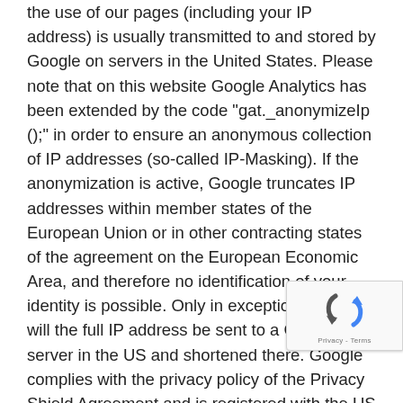the use of our pages (including your IP address) is usually transmitted to and stored by Google on servers in the United States. Please note that on this website Google Analytics has been extended by the code "gat._anonymizeIp ();" in order to ensure an anonymous collection of IP addresses (so-called IP-Masking). If the anonymization is active, Google truncates IP addresses within member states of the European Union or in other contracting states of the agreement on the European Economic Area, and therefore no identification of your identity is possible. Only in exceptional cases will the full IP address be sent to a Google server in the US and shortened there. Google complies with the privacy policy of the Privacy Shield Agreement and is registered with the US Department of Commerce's Privacy Shield Program, and uses the information we collect to evaluate the use of our Web sites, to report on them, and to provide other related services to us to provide. Find out
[Figure (other): reCAPTCHA badge with Google logo and 'Privacy - Terms' text]